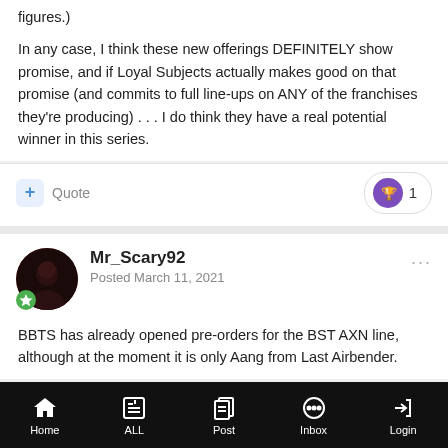figures.)
In any case, I think these new offerings DEFINITELY show promise, and if Loyal Subjects actually makes good on that promise (and commits to full line-ups on ANY of the franchises they're producing) . . . I do think they have a real potential winner in this series.
Mr_Scary92
Posted March 11, 2021
BBTS has already opened pre-orders for the BST AXN line, although at the moment it is only Aang from Last Airbender.
Home   ALL   Post   Inbox   Login